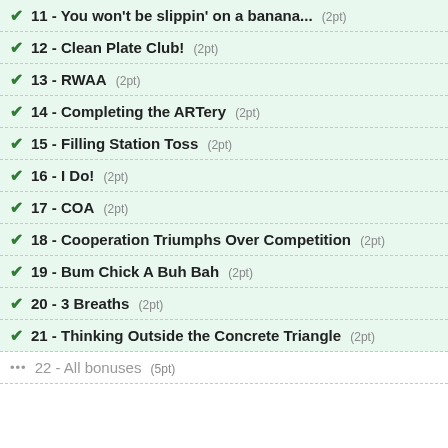11 - You won't be slippin' on a banana... (2pt)
12 - Clean Plate Club! (2pt)
13 - RWAA (2pt)
14 - Completing the ARTery (2pt)
15 - Filling Station Toss (2pt)
16 - I Do! (2pt)
17 - COA (2pt)
18 - Cooperation Triumphs Over Competition (2pt)
19 - Bum Chick A Buh Bah (2pt)
20 - 3 Breaths (2pt)
21 - Thinking Outside the Concrete Triangle (2pt)
22 - All bonuses (5pt)